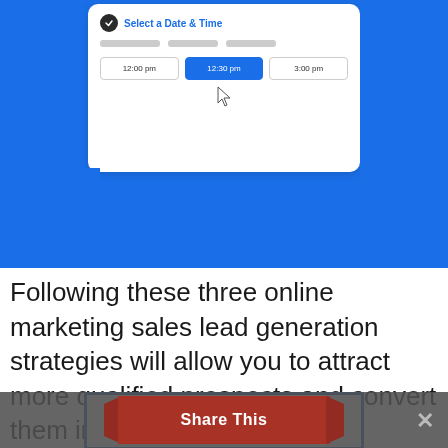[Figure (screenshot): Screenshot of a booking/scheduling UI widget showing 'Select a Date & Time' header with a checkmark icon, placeholder input bars, and three time buttons: 12:00 pm, 12:30 pm (selected/highlighted in blue), and 3:00 pm, with a cursor icon, all on a blue background.]
Following these three online marketing sales lead generation strategies will allow you to attract more qualified prospects and convert them into profitable sales.
[Figure (screenshot): Partial screenshot of a card/box with blue border at the bottom of the page, partially cut off.]
Share This